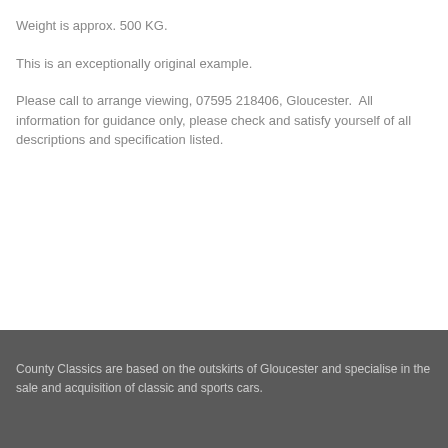Weight is approx. 500 KG.
This is an exceptionally original example.
Please call to arrange viewing, 07595 218406, Gloucester.  All information for guidance only, please check and satisfy yourself of all descriptions and specification listed.
County Classics are based on the outskirts of Gloucester and specialise in the sale and acquisition of classic and sports cars.